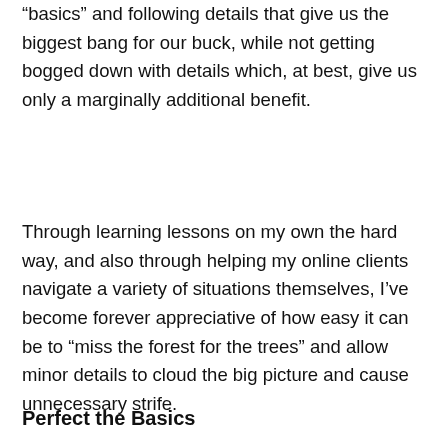“basics” and following details that give us the biggest bang for our buck, while not getting bogged down with details which, at best, give us only a marginally additional benefit.
Through learning lessons on my own the hard way, and also through helping my online clients navigate a variety of situations themselves, I’ve become forever appreciative of how easy it can be to “miss the forest for the trees” and allow minor details to cloud the big picture and cause unnecessary strife.
Perfect the Basics